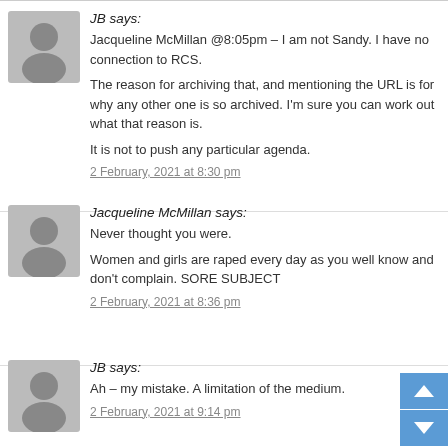JB says: Jacqueline McMillan @8:05pm – I am not Sandy. I have no connection to RCS. The reason for archiving that, and mentioning the URL is for why any other one is so archived. I'm sure you can work out what that reason is. It is not to push any particular agenda. 2 February, 2021 at 8:30 pm
Jacqueline McMillan says: Never thought you were. Women and girls are raped every day as you well know and don't complain. SORE SUBJECT 2 February, 2021 at 8:36 pm
JB says: Ah – my mistake. A limitation of the medium. 2 February, 2021 at 9:14 pm